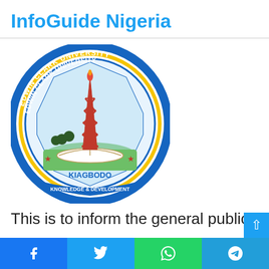InfoGuide Nigeria
[Figure (logo): Edwin Clark University Kiagbodo seal/logo — circular blue and gold badge with a red oil derrick, open book, trees, red stars, and banner reading KNOWLEDGE & DEVELOPMENT]
This is to inform the general public,